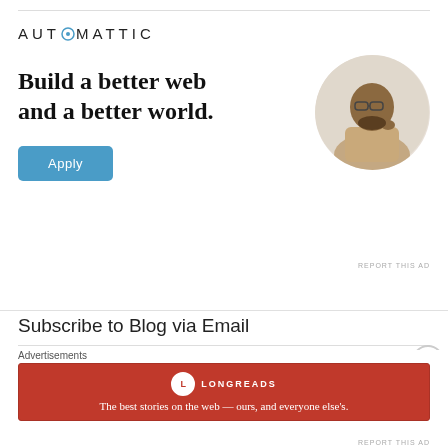[Figure (infographic): Automattic advertisement with logo, headline 'Build a better web and a better world.', Apply button, and a photo of a person thinking in a circle.]
REPORT THIS AD
Subscribe to Blog via Email
Enter your email address to subscribe to this blog and
[Figure (infographic): Longreads advertisement bar: logo with L icon, tagline 'The best stories on the web — ours, and everyone else's.']
REPORT THIS AD